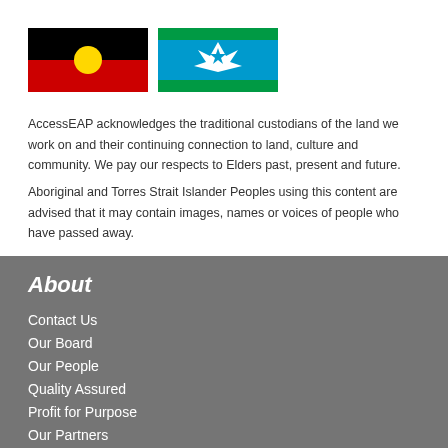[Figure (illustration): Two flags side by side: Australian Aboriginal Flag (black top half, red bottom half, yellow circle in centre) and Torres Strait Islander Flag (blue background with green stripes top and bottom, white dhari/headdress and star in centre)]
AccessEAP acknowledges the traditional custodians of the land we work on and their continuing connection to land, culture and community. We pay our respects to Elders past, present and future.
Aboriginal and Torres Strait Islander Peoples using this content are advised that it may contain images, names or voices of people who have passed away.
About
Contact Us
Our Board
Our People
Quality Assured
Profit for Purpose
Our Partners
Careers
Testimonials